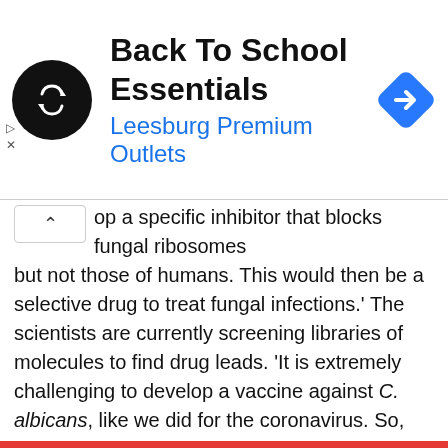[Figure (other): Advertisement banner for Back To School Essentials at Leesburg Premium Outlets, with a circular logo and diamond-shaped navigation icon]
op a specific inhibitor that blocks fungal ribosomes but not those of humans. This would then be a selective drug to treat fungal infections.' The scientists are currently screening libraries of molecules to find drug leads. 'It is extremely challenging to develop a vaccine against C. albicans, like we did for the coronavirus. So, we need drugs to treat systemic infections,' Guskov explains. 'The increasing drug resistance of this fungus is a real threat. If this continues, we could be in serious trouble unless new drugs are developed.'
Reference: Yury Zgadzay, Olga Kolosova, Artem Stetsenko, Cheng Wu, David Bruchlen, Konstantin Usachev, Shamil Validov, Lasse Jenner, Andrey Rogachev, Gulnara